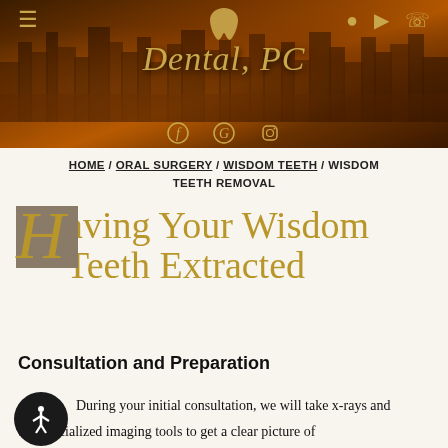[Figure (screenshot): Dental PC website header banner with city skyline background, gold hamburger menu, user/location/phone icons, Dental PC logo in italic gold script, tooth icon, and social media icons (Facebook, Google, Instagram) at bottom of banner.]
HOME / ORAL SURGERY / WISDOM TEETH / WISDOM TEETH REMOVAL
Having Your Wisdom Teeth Extracted
Consultation and Preparation
During your initial consultation, we will take x-rays and use specialized imaging tools to get a clear picture of